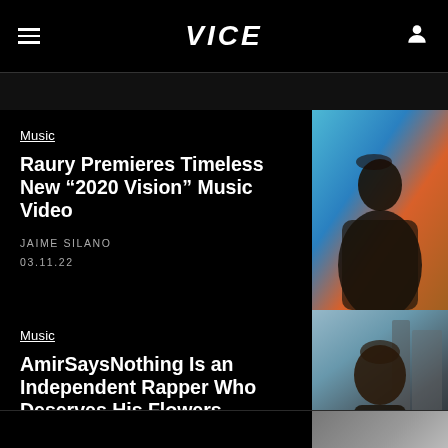VICE
Music
Raury Premieres Timeless New “2020 Vision” Music Video
JAIME SILANO
03.11.22
[Figure (photo): Photo of Raury in colorful blue and orange clothing against a painted mural background]
Music
AmirSaysNothing Is an Independent Rapper Who Deserves His Flowers
JAIME SILANO
04.11.22
[Figure (photo): Photo of AmirSaysNothing, a rapper with long dreadlocks, smiling in front of a building]